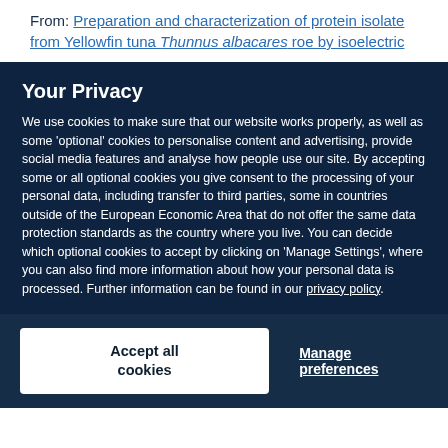From: Preparation and characterization of protein isolate from Yellowfin tuna Thunnus albacares roe by isoelectric
Your Privacy
We use cookies to make sure that our website works properly, as well as some 'optional' cookies to personalise content and advertising, provide social media features and analyse how people use our site. By accepting some or all optional cookies you give consent to the processing of your personal data, including transfer to third parties, some in countries outside of the European Economic Area that do not offer the same data protection standards as the country where you live. You can decide which optional cookies to accept by clicking on 'Manage Settings', where you can also find more information about how your personal data is processed. Further information can be found in our privacy policy.
Accept all cookies
Manage preferences